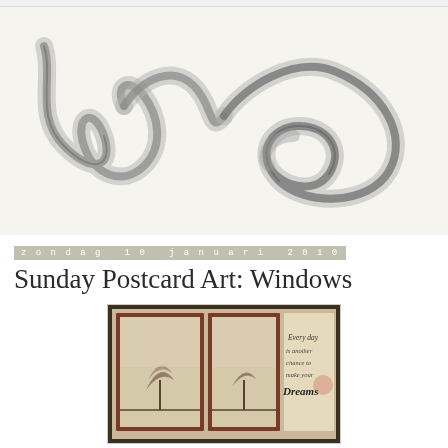[Figure (illustration): Decorative cursive ribbon/scroll illustration forming letters 'wb' or similar flowing script shape in grayscale on cream background, resembling a curled metallic or paper ribbon]
zondag 10 januari 2010
Sunday Postcard Art: Windows
[Figure (photo): Postcard artwork showing two framed window panels with bare trees inside, warm reddish-brown border frames, and handwritten text on the right side reading 'Every day is another chance to make your Dreams']